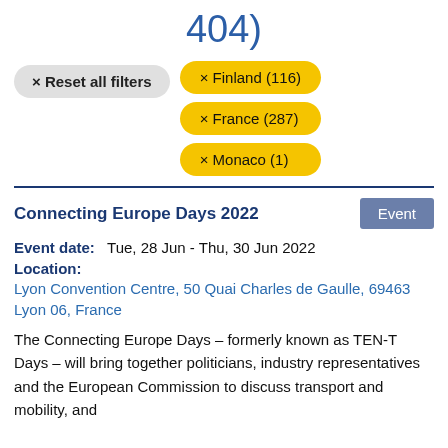404)
× Reset all filters
× Finland (116)
× France (287)
× Monaco (1)
Connecting Europe Days 2022
Event
Event date:   Tue, 28 Jun - Thu, 30 Jun 2022
Location:
Lyon Convention Centre, 50 Quai Charles de Gaulle, 69463 Lyon 06, France
The Connecting Europe Days – formerly known as TEN-T Days – will bring together politicians, industry representatives and the European Commission to discuss transport and mobility, and